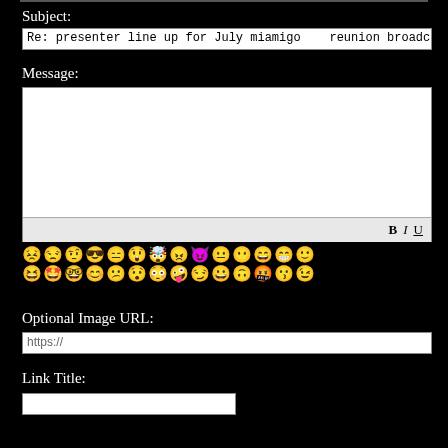Subject:
Re: presenter line up for July miamigo   reunion broadcast from Ross
Message:
[Figure (screenshot): Message text area with white background and a toolbar at the bottom showing B I U formatting buttons]
[Figure (infographic): Two rows of yellow emoji/smiley face icons]
Optional Image URL:
https://
Link Title: